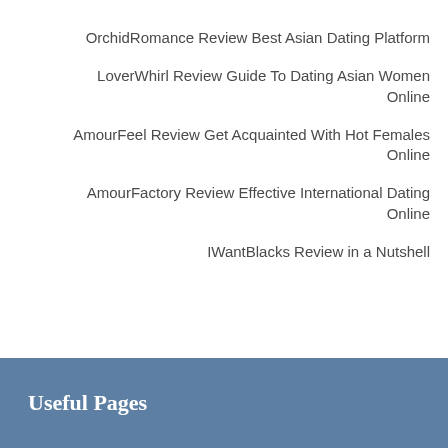OrchidRomance Review Best Asian Dating Platform
LoverWhirl Review Guide To Dating Asian Women Online
AmourFeel Review Get Acquainted With Hot Females Online
AmourFactory Review Effective International Dating Online
IWantBlacks Review in a Nutshell
Useful Pages